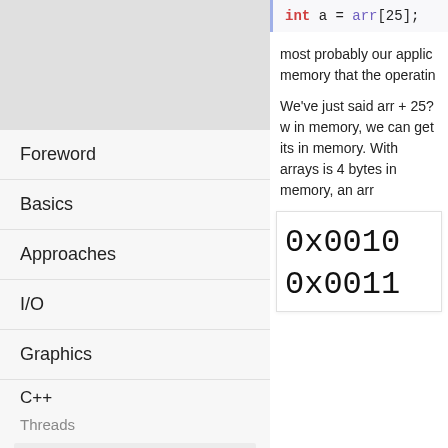[Figure (screenshot): Code snippet showing: int a = arr[25];]
Foreword
Basics
Approaches
I/O
Graphics
C++
Threads
Memory in C++
Computer memory and variables
Stack variables, variables in functions vs variables in objects
most probably our applic memory that the operatin
We've just said arr + 25? w in memory, we can get its in memory. With arrays is 4 bytes in memory, an arr
[Figure (screenshot): Memory address display showing 0x0010 and 0x0011]